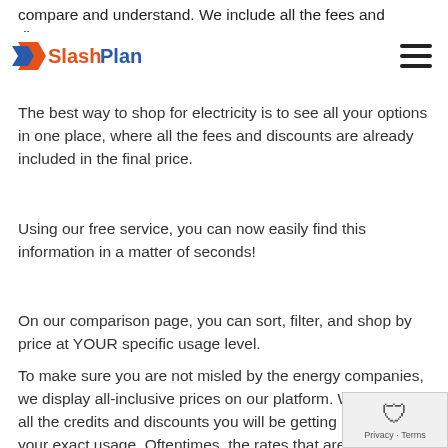SlashPlan logo and navigation
compare and understand. We include all the fees and discounts, so you can compare apples-to-apples.
The best way to shop for electricity is to see all your options in one place, where all the fees and discounts are already included in the final price.
Using our free service, you can now easily find this information in a matter of seconds!
On our comparison page, you can sort, filter, and shop by price at YOUR specific usage level.
To make sure you are not misled by the energy companies, we display all-inclusive prices on our platform. We include all the credits and discounts you will be getting based on your exact usage. Oftentimes, the rates that are advertised